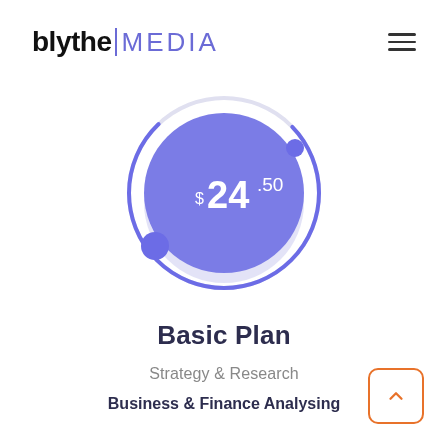blythe | MEDIA
[Figure (infographic): Circular price indicator with purple filled circle showing $24.50, surrounded by a ring arc in purple/light gray, with two dots on the ring indicating endpoints.]
Basic Plan
Strategy & Research
Business & Finance Analysing